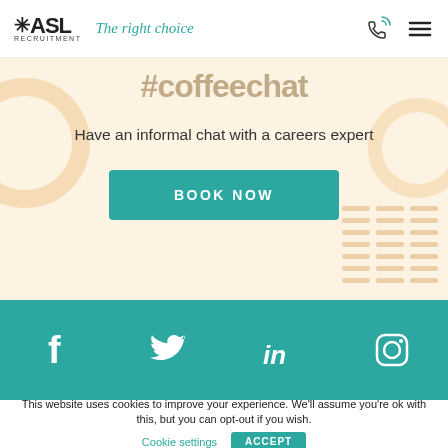ASL RECRUITMENT — The right choice
#coffeechat
Have an informal chat with a careers expert
BOOK NOW
[Figure (infographic): Social media icons for Facebook, Twitter, LinkedIn, and Instagram on a teal background]
This website uses cookies to improve your experience. We'll assume you're ok with this, but you can opt-out if you wish.
Cookie settings   ACCEPT